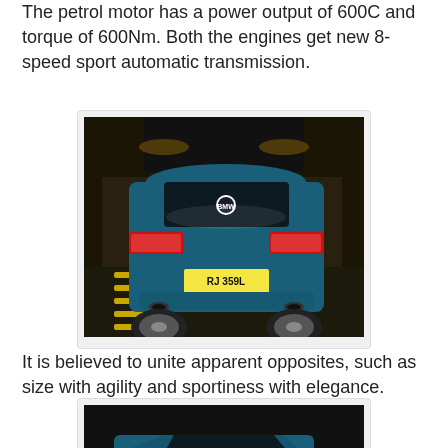The petrol motor has a power output of 600C and torque of 600Nm. Both the engines get new 8-speed sport automatic transmission.
[Figure (photo): Rear view of a blue BMW X6 driving through an underpass, showing taillights and license plate RJ 359L]
It is believed to unite apparent opposites, such as size with agility and sportiness with elegance.
[Figure (photo): Rear three-quarter view of a blue BMW X6 in motion with blurred background, license plate RJ 6590]